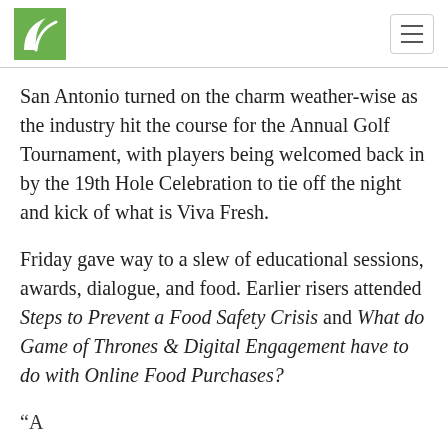[Logo: green leaf/plant icon] [Hamburger menu button]
San Antonio turned on the charm weather-wise as the industry hit the course for the Annual Golf Tournament, with players being welcomed back in by the 19th Hole Celebration to tie off the night and kick of what is Viva Fresh.
Friday gave way to a slew of educational sessions, awards, dialogue, and food. Earlier risers attended Steps to Prevent a Food Safety Crisis and What do Game of Thrones & Digital Engagement have to do with Online Food Purchases?
(partial line cut off at bottom)